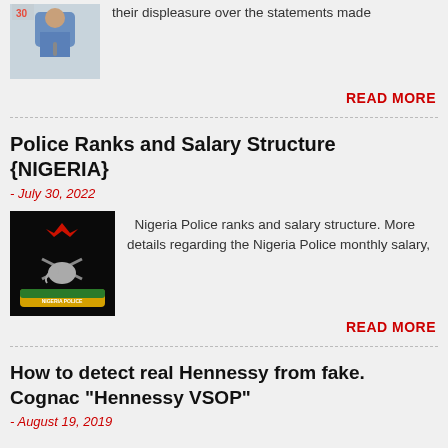[Figure (photo): Man in blue embroidered top at a podium with microphone]
their displeasure over the statements made
READ MORE
Police Ranks and Salary Structure {NIGERIA}
- July 30, 2022
[Figure (logo): Nigeria Police Force badge/crest on black background]
Nigeria Police ranks and salary structure. More details regarding the Nigeria Police monthly salary,
READ MORE
How to detect real Hennessy from fake. Cognac "Hennessy VSOP"
- August 19, 2019